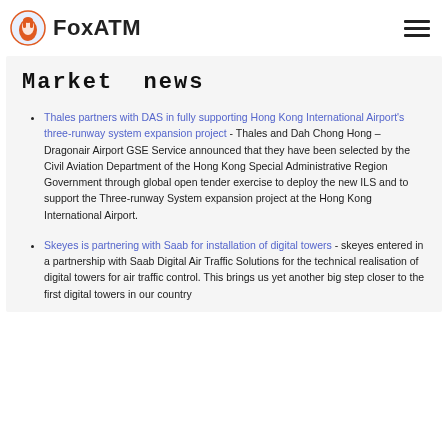FoxATM
Market news
Thales partners with DAS in fully supporting Hong Kong International Airport's three-runway system expansion project - Thales and Dah Chong Hong – Dragonair Airport GSE Service announced that they have been selected by the Civil Aviation Department of the Hong Kong Special Administrative Region Government through global open tender exercise to deploy the new ILS and to support the Three-runway System expansion project at the Hong Kong International Airport.
Skeyes is partnering with Saab for installation of digital towers - skeyes entered in a partnership with Saab Digital Air Traffic Solutions for the technical realisation of digital towers for air traffic control. This brings us yet another big step closer to the first digital towers in our country.